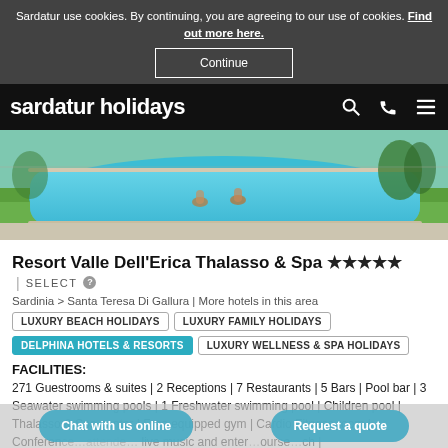Sardatur use cookies. By continuing, you are agreeing to our use of cookies. Find out more here.
Continue
sardatur holidays
[Figure (photo): Swimming pool at Resort Valle Dell'Erica with two people in the water, surrounded by stone paving and green lawns]
Resort Valle Dell'Erica Thalasso & Spa ★★★★★
| SELECT ⓘ
Sardinia > Santa Teresa Di Gallura | More hotels in this area
LUXURY BEACH HOLIDAYS
LUXURY FAMILY HOLIDAYS
DELPHINA HOTELS & RESORTS
LUXURY WELLNESS & SPA HOLIDAYS
FACILITIES:
271 Guestrooms & suites | 2 Receptions | 7 Restaurants | 5 Bars | Pool bar | 3 Seawater swimming pools | 1 Freshwater swimming pool | Children pool | Thalasso & Spa center | Free equipped gym | Cardio Fitness room | Conference room | Attende… live music and ente… ourse… ch |
Chat with us online
Request a quote